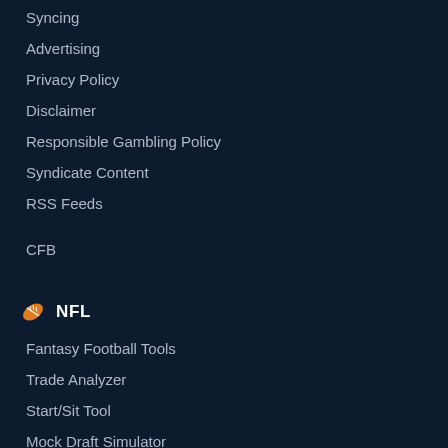Syncing
Advertising
Privacy Policy
Disclaimer
Responsible Gambling Policy
Syndicate Content
RSS Feeds
CFB
NFL
Fantasy Football Tools
Trade Analyzer
Start/Sit Tool
Mock Draft Simulator
Rate My Team
Fantasy Football Assistant
Fantasy Football Draft Assistant